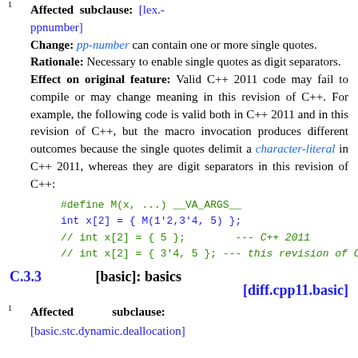Affected subclause: [lex.-ppnumber]
Change: pp-number can contain one or more single quotes.
Rationale: Necessary to enable single quotes as digit separators.
Effect on original feature: Valid C++ 2011 code may fail to compile or may change meaning in this revision of C++. For example, the following code is valid both in C++ 2011 and in this revision of C++, but the macro invocation produces different outcomes because the single quotes delimit a character-literal in C++ 2011, whereas they are digit separators in this revision of C++:
#define M(x, ...) __VA_ARGS__
int x[2] = { M(1'2,3'4, 5) };
// int x[2] = { 5 };       --- C++ 2011
// int x[2] = { 3'4, 5 }; --- this revision of C++
C.3.3   [basic]: basics   [diff.cpp11.basic]
Affected    subclause:
[basic.stc.dynamic.deallocation]